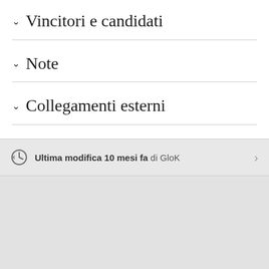Vincitori e candidati
Note
Collegamenti esterni
Ultima modifica 10 mesi fa di GloK